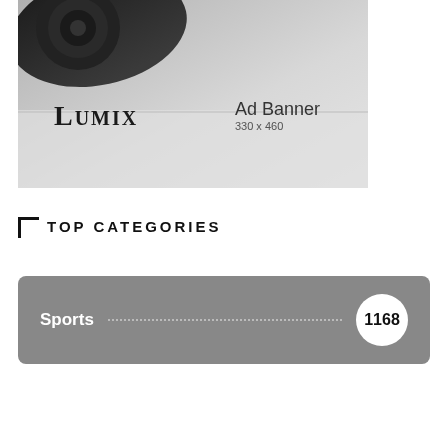[Figure (photo): Ad banner showing a Lumix camera on a light background with text 'LUMIX' and 'Ad Banner 330 x 460'. A cyan/teal bar runs along the top.]
TOP CATEGORIES
Sports  1168